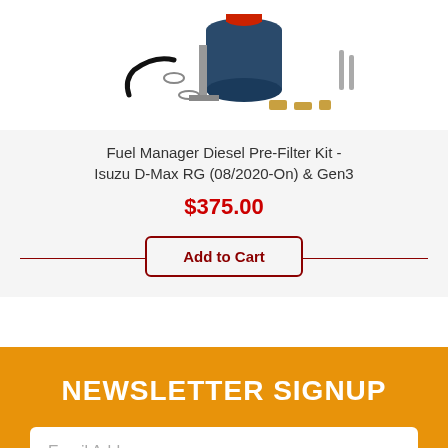[Figure (photo): Product photo of Fuel Manager Diesel Pre-Filter Kit showing filter unit, hoses, clamps, and hardware components on white background]
Fuel Manager Diesel Pre-Filter Kit - Isuzu D-Max RG (08/2020-On) & Gen3
$375.00
Add to Cart
NEWSLETTER SIGNUP
Email Address
SUBSCRIBE